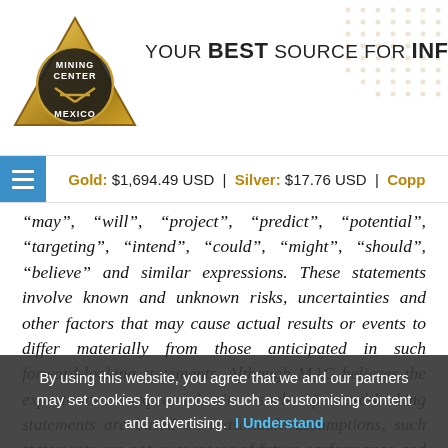[Figure (logo): Mining Center Mexico triangular gold logo with pickaxe and hammer]
YOUR BEST SOURCE FOR INFORMATION
Gold: $1,694.49 USD | Silver: $17.76 USD | Copp
“may”, “will”, “project”, “predict”, “potential”, “targeting”, “intend”, “could”, “might”, “should”, “believe” and similar expressions. These statements involve known and unknown risks, uncertainties and other factors that may cause actual results or events to differ materially from those anticipated in such forward-looking statements. Although MAG believes the expectations expressed in such forward-looking statements are based on reasonable assumptions, such statements are not guarantees of future performance and actual results or developments may differ materially from those in the forward-looking statements. Factors that could cause actual results to differ materially from
By using this website, you agree that we and our partners may set cookies for purposes such as customising content and advertising. I Understand